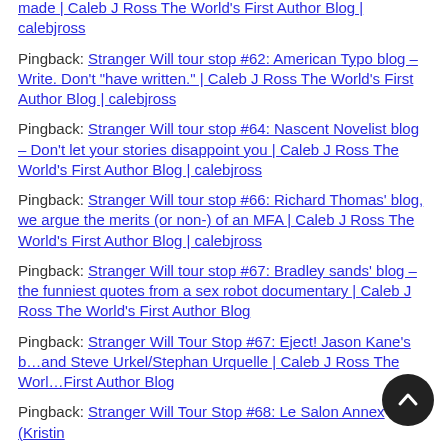Pingback: Stranger Will tour stop #62: American Typo blog – Write. Don't "have written." | Caleb J Ross The World's First Author Blog | calebjross
Pingback: Stranger Will tour stop #64: Nascent Novelist blog – Don't let your stories disappoint you | Caleb J Ross The World's First Author Blog | calebjross
Pingback: Stranger Will tour stop #66: Richard Thomas' blog, we argue the merits (or non-) of an MFA | Caleb J Ross The World's First Author Blog | calebjross
Pingback: Stranger Will tour stop #67: Bradley sands' blog – the funniest quotes from a sex robot documentary | Caleb J Ross The World's First Author Blog
Pingback: Stranger Will Tour Stop #67: Eject! Jason Kane's blog and Steve Urkel/Stephan Urquelle | Caleb J Ross The World's First Author Blog
Pingback: Stranger Will Tour Stop #68: Le Salon Annex (Kristin